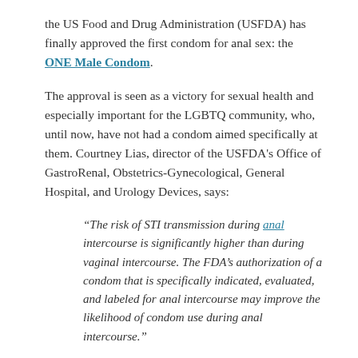the US Food and Drug Administration (USFDA) has finally approved the first condom for anal sex: the ONE Male Condom.
The approval is seen as a victory for sexual health and especially important for the LGBTQ community, who, until now, have not had a condom aimed specifically at them. Courtney Lias, director of the USFDA's Office of GastroRenal, Obstetrics-Gynecological, General Hospital, and Urology Devices, says:
“The risk of STI transmission during anal intercourse is significantly higher than during vaginal intercourse. The FDA’s authorization of a condom that is specifically indicated, evaluated, and labeled for anal intercourse may improve the likelihood of condom use during anal intercourse.”